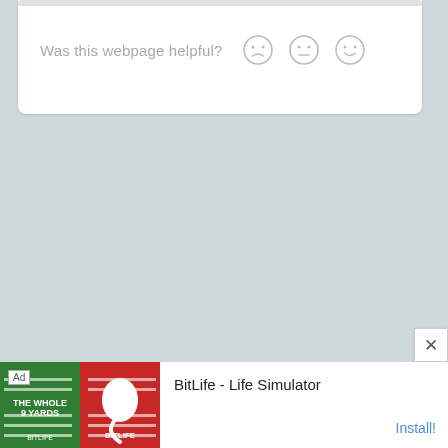Was this webpage helpful? ☹ 😐 🙂
[Figure (screenshot): Ad banner for BitLife - Life Simulator app, showing game artwork on left and install button on right]